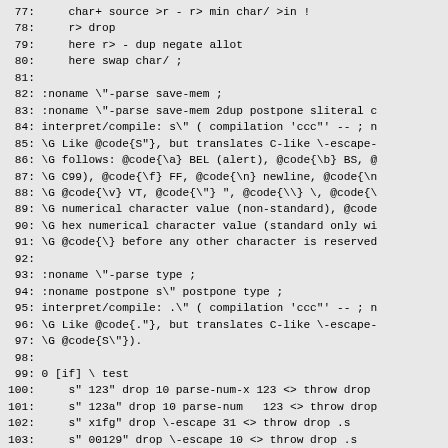77:     char+ source >r - r> min char/ >in !
 78:     r> drop
 79:     here r> - dup negate allot
 80:     here swap char/ ;
 81:
 82: :noname \"-parse save-mem ;
 83: :noname \"-parse save-mem 2dup postpone sliteral c
 84: interpret/compile: s\" ( compilation 'ccc"' -- ; n
 85: \G Like @code{S"}, but translates C-like \-escape-
 86: \G follows: @code{\a} BEL (alert), @code{\b} BS, @
 87: \G C99), @code{\f} FF, @code{\n} newline, @code{\n
 88: \G @code{\v} VT, @code{\"} ", @code{\\} \, @code{\
 89: \G numerical character value (non-standard), @code
 90: \G hex numerical character value (standard only wi
 91: \G @code{\} before any other character is reserved
 92:
 93: :noname \"-parse type ;
 94: :noname postpone s\" postpone type ;
 95: interpret/compile: .\" ( compilation 'ccc"' -- ; n
 96: \G Like @code{."}, but translates C-like \-escape-
 97: \G @code{S\"}).
 98:
 99: 0 [if] \ test
100:     s" 123" drop 10 parse-num-x 123 <> throw drop
101:     s" 123a" drop 10 parse-num   123 <> throw drop
102:     s" x1fg" drop \-escape 31 <> throw drop .s
103:     s" 00129" drop \-escape 10 <> throw drop .s
104:     s" a" drop \-escape 7 <> throw drop .s
105:     \"-parse " s" " str= 0= throw .s
106:     \"-parse \a\b\c\e\f\n\r\t\v\100\x40abcde" du